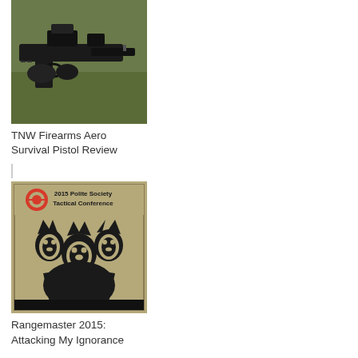[Figure (photo): Close-up photo of a black firearm (pistol/rifle) with optics and accessories, held by gloved hands in an outdoor grassy setting.]
TNW Firearms Aero Survival Pistol Review
[Figure (photo): Photo of a Rangemaster / Polite Society Tactical Conference 2015 banner/sign featuring a three-headed dog logo (Cerberus) in black on a tan/khaki background.]
Rangemaster 2015: Attacking My Ignorance